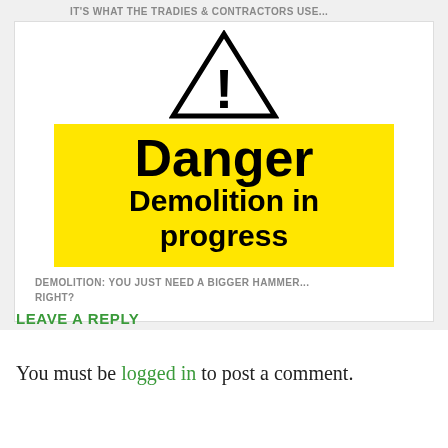IT'S WHAT THE TRADIES & CONTRACTORS USE...
[Figure (photo): A yellow danger sign reading 'Danger Demolition in progress' with a black warning triangle above it]
DEMOLITION: YOU JUST NEED A BIGGER HAMMER... RIGHT?
LEAVE A REPLY
You must be logged in to post a comment.